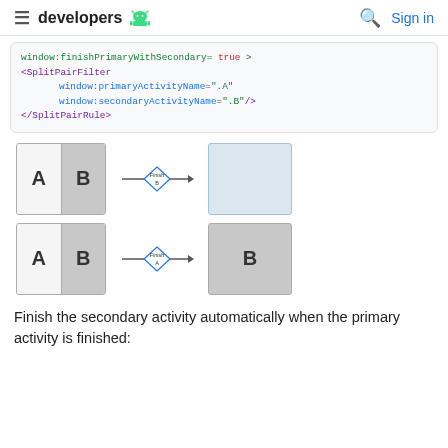developers  Sign in
window:finishPrimaryWithSecondary= true >
<SplitPairFilter
    window:primaryActivityName=".A"
    window:secondaryActivityName=".B"/>
</SplitPairRule>
[Figure (illustration): Two diagrams showing split-screen activity finish behavior. Top: A|B split screen with Finish B action resulting in A shown alone (empty blue box). Bottom: A|B split screen with Finish A action resulting in B shown alone (gray box with B).]
Finish the secondary activity automatically when the primary activity is finished: